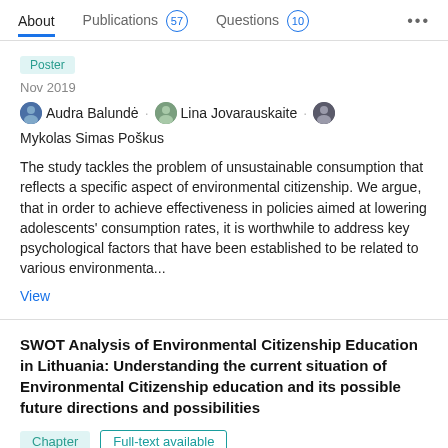About  Publications 57  Questions 10  ...
Poster
Nov 2019
Audra Balundė · Lina Jovarauskaite · Mykolas Simas Poškus
The study tackles the problem of unsustainable consumption that reflects a specific aspect of environmental citizenship. We argue, that in order to achieve effectiveness in policies aimed at lowering adolescents' consumption rates, it is worthwhile to address key psychological factors that have been established to be related to various environmenta...
View
SWOT Analysis of Environmental Citizenship Education in Lithuania: Understanding the current situation of Environmental Citizenship education and its possible future directions and possibilities
Chapter  Full-text available